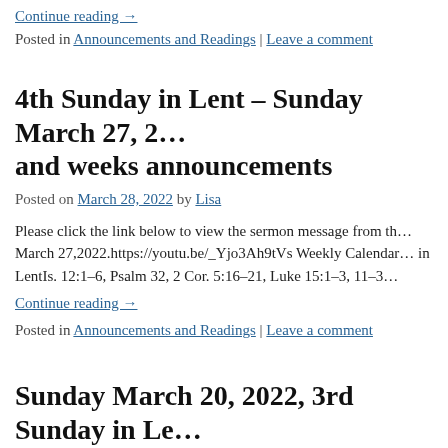Continue reading →
Posted in Announcements and Readings | Leave a comment
4th Sunday in Lent – Sunday March 27, 2… and weeks announcements
Posted on March 28, 2022 by Lisa
Please click the link below to view the sermon message from th… March 27,2022.https://youtu.be/_Yjo3Ah9tVs Weekly Calendar… in LentIs. 12:1–6, Psalm 32, 2 Cor. 5:16–21, Luke 15:1–3, 11–3…
Continue reading →
Posted in Announcements and Readings | Leave a comment
Sunday March 20, 2022, 3rd Sunday in Le…
Posted on March 21, 2022 by Lisa
Please click the link below to view the sermon message from S…